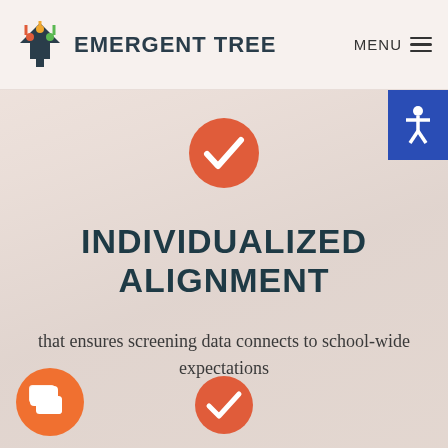EMERGENT TREE
[Figure (logo): Emergent Tree logo with colorful tree/arrow icon and text EMERGENT TREE]
[Figure (illustration): Orange circle with white checkmark icon at top center]
INDIVIDUALIZED ALIGNMENT
that ensures screening data connects to school-wide expectations
[Figure (illustration): Orange chat bubble icon at bottom left]
[Figure (illustration): Orange circle with white checkmark icon at bottom center]